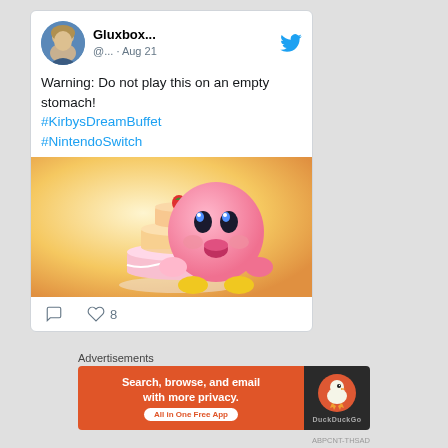[Figure (screenshot): Twitter/social media post by Gluxbox... (@...) dated Aug 21 with tweet text, Kirby Dream Buffet image, and engagement icons]
Gluxbox...
@... · Aug 21
Warning: Do not play this on an empty stomach! #KirbysDreamBuffet #NintendoSwitch
[Figure (photo): Kirby character eating a multi-tier strawberry cake with a yellow/orange gradient background]
8 likes
Gluxbox (partial second tweet)
Advertisements
[Figure (screenshot): DuckDuckGo advertisement banner: Search, browse, and email with more privacy. All in One Free App.]